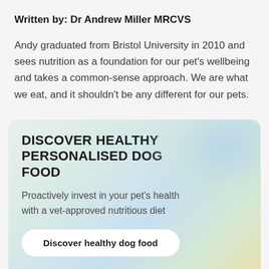Written by: Dr Andrew Miller MRCVS
Andy graduated from Bristol University in 2010 and sees nutrition as a foundation for our pet's wellbeing and takes a common-sense approach. We are what we eat, and it shouldn't be any different for our pets.
DISCOVER HEALTHY PERSONALISED DOG FOOD
Proactively invest in your pet's health with a vet-approved nutritious diet
Discover healthy dog food